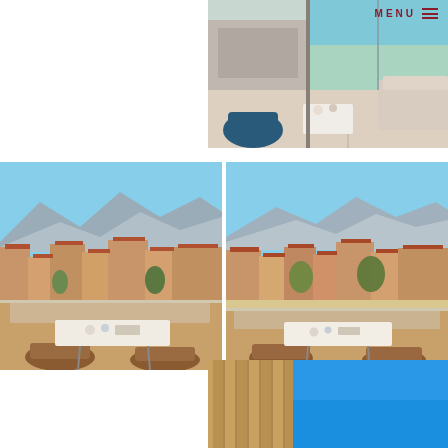MENU
[Figure (photo): Interior room of a modern hotel or apartment with ocean view through large sliding glass doors. Blue accent chair, white coffee table, sofa with cushions visible on right.]
[Figure (photo): Outdoor terrace with table and chairs overlooking a Mediterranean coastal town with terracotta-roofed buildings and mountains in the background under a clear blue sky.]
[Figure (photo): Another outdoor terrace view overlooking similar Mediterranean coastal town with terracotta rooftops, trees, and mountains in the background under clear blue sky.]
[Figure (photo): Partial view of a building facade with vertical wooden slats against a bright blue sky.]